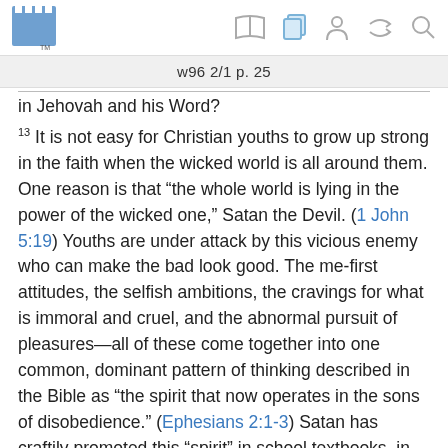w96 2/1 p. 25
in Jehovah and his Word?
13 It is not easy for Christian youths to grow up strong in the faith when the wicked world is all around them. One reason is that “the whole world is lying in the power of the wicked one,” Satan the Devil. (1 John 5:19) Youths are under attack by this vicious enemy who can make the bad look good. The me-first attitudes, the selfish ambitions, the cravings for what is immoral and cruel, and the abnormal pursuit of pleasures—all of these come together into one common, dominant pattern of thinking described in the Bible as “the spirit that now operates in the sons of disobedience.” (Ephesians 2:1-3) Satan has craftily promoted this “spirit” in school textbooks, in much of the available